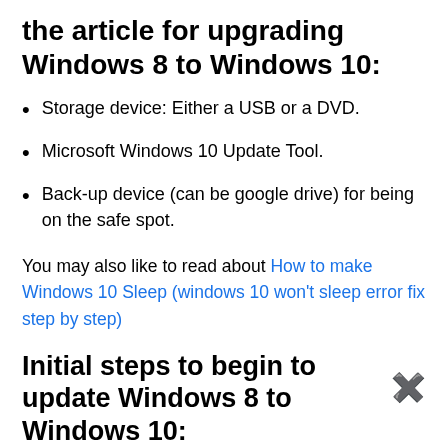the article for upgrading Windows 8 to Windows 10:
Storage device: Either a USB or a DVD.
Microsoft Windows 10 Update Tool.
Back-up device (can be google drive) for being on the safe spot.
You may also like to read about How to make Windows 10 Sleep (windows 10 won't sleep error fix step by step)
Initial steps to begin to update Windows 8 to Windows 10:
Befc	of a
few things